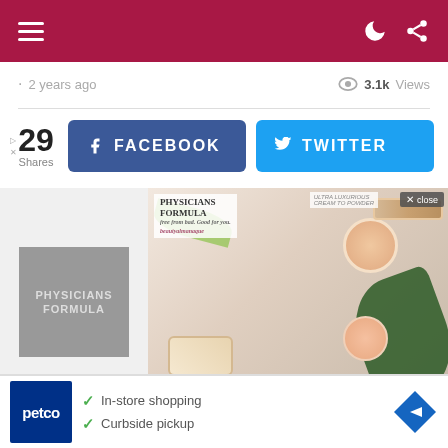Navigation bar with menu icon and share/dark-mode icons
· 2 years ago   👁 3.1k Views
29 Shares   FACEBOOK   TWITTER
[Figure (photo): Physicians Formula logo on gray background (left), and Physicians Formula cosmetics ad with tropical leaves and makeup products (right)]
✓ In-store shopping   ✓ Curbside pickup
[Figure (logo): Petco logo - dark blue square with 'petco' in white text]